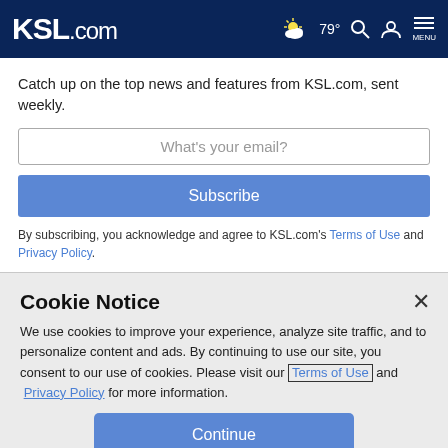KSL.com — 79° weather, search, account, menu
Catch up on the top news and features from KSL.com, sent weekly.
What's your email?
Subscribe
By subscribing, you acknowledge and agree to KSL.com's Terms of Use and Privacy Policy.
Cookie Notice
We use cookies to improve your experience, analyze site traffic, and to personalize content and ads. By continuing to use our site, you consent to our use of cookies. Please visit our Terms of Use and  Privacy Policy for more information.
Continue